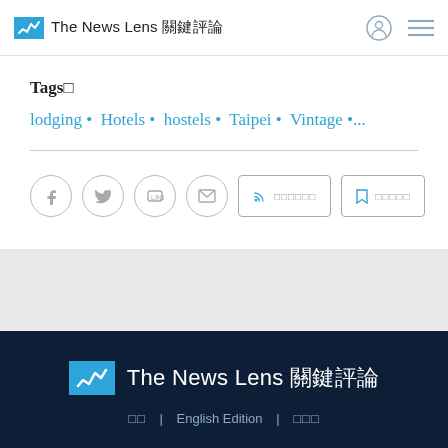The News Lens 關鍵評論
Tags□
lodging • Hotels • hostels • Taipei • Vintage •...
[Figure (infographic): Social share buttons: Facebook, Twitter, Line, Email circles, plus RSS feed button and bookmark button with Chinese character labels]
The News Lens 關鍵評論 | □□ | English Edition | □□□